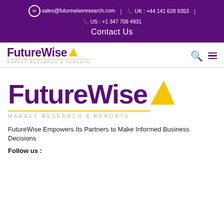sales@futurewiseresearch.com | UK : +44 141 628 9353 | US : +1 347 709 4931
Contact Us
[Figure (logo): FutureWise Market Research & Reports logo (small, in navigation bar) with yellow arrow icon and search icon]
[Figure (logo): FutureWise Market Research & Reports large logo with yellow arrow icon]
FutureWise Empowers Its Partners to Make Informed Business Decisions
Follow us :